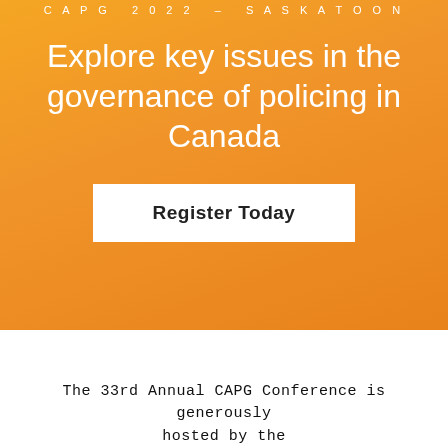CAPG 2022 – SASKATOON
Explore key issues in the governance of policing in Canada
Register Today
The 33rd Annual CAPG Conference is generously hosted by the